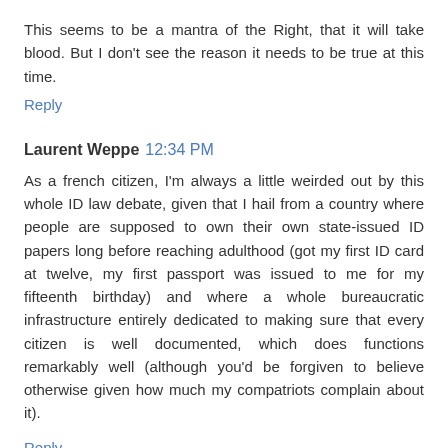This seems to be a mantra of the Right, that it will take blood. But I don't see the reason it needs to be true at this time.
Reply
Laurent Weppe  12:34 PM
As a french citizen, I'm always a little weirded out by this whole ID law debate, given that I hail from a country where people are supposed to own their own state-issued ID papers long before reaching adulthood (got my first ID card at twelve, my first passport was issued to me for my fifteenth birthday) and where a whole bureaucratic infrastructure entirely dedicated to making sure that every citizen is well documented, which does functions remarkably well (although you'd be forgiven to believe otherwise given how much my compatriots complain about it).
Reply